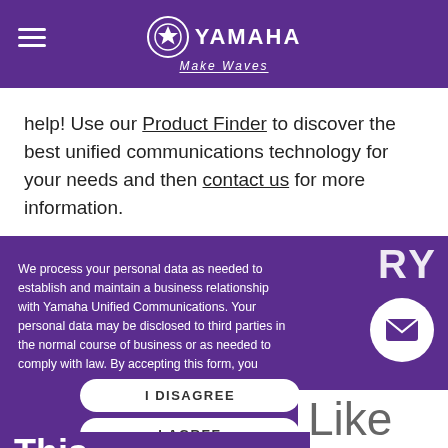Yamaha Make Waves
help! Use our Product Finder to discover the best unified communications technology for your needs and then contact us for more information.
We process your personal data as needed to establish and maintain a business relationship with Yamaha Unified Communications. Your personal data may be disclosed to third parties in the normal course of business or as needed to comply with law. By accepting this form, you acknowledge and accept our privacy practices. Our complete privacy policy is available at Privacy Policy
I DISAGREE
I AGREE
Like
This